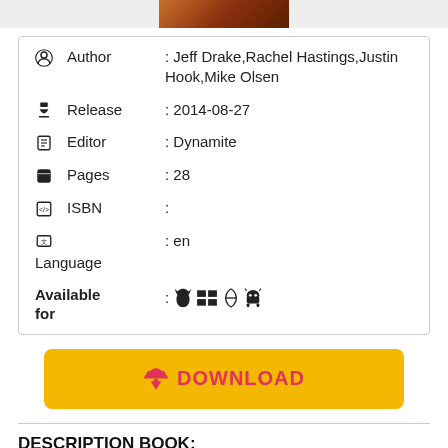[Figure (photo): Top portion of a book cover image, partially visible]
| Author | : Jeff Drake,Rachel Hastings,Justin Hook,Mike Olsen |
| Release | : 2014-08-27 |
| Editor | : Dynamite |
| Pages | : 28 |
| ISBN | : |
| Language | : en |
| Available for | : (Apple, Windows, Linux, Android icons) |
[Figure (other): Download button with cloud/arrow icon, yellow background, pink text reading DOWNLOAD]
DESCRIPTION BOOK: